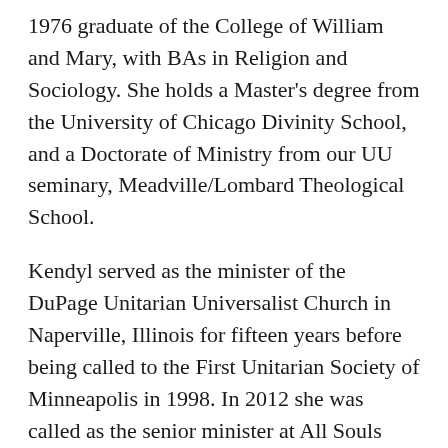1976 graduate of the College of William and Mary, with BAs in Religion and Sociology. She holds a Master's degree from the University of Chicago Divinity School, and a Doctorate of Ministry from our UU seminary, Meadville/Lombard Theological School.
Kendyl served as the minister of the DuPage Unitarian Universalist Church in Naperville, Illinois for fifteen years before being called to the First Unitarian Society of Minneapolis in 1998. In 2012 she was called as the senior minister at All Souls here in Kansas City.
Kendyl has a long-standing commitment to theological education and the future of ministry. She has formally supervised more than twenty student ministry internships, and been an informal teacher and mentor to dozens of seminarians. She has been an adjunct faculty member of the United Theological